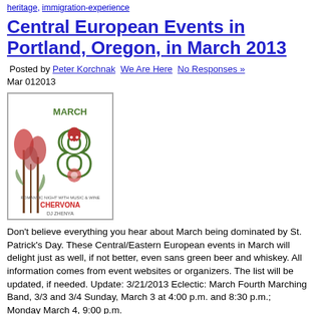heritage, immigration-experience
Central European Events in Portland, Oregon, in March 2013
Posted by Peter Korchnak  We Are Here  No Responses »
Mar 012013
[Figure (illustration): Event flyer image for March 8 Chervona 'Romantic Night with Music & Wine' event, featuring tulip flowers and a matryoshka doll illustration with MARCH 8 text.]
Don't believe everything you hear about March being dominated by St. Patrick's Day. These Central/Eastern European events in March will delight just as well, if not better, even sans green beer and whiskey. All information comes from event websites or organizers. The list will be updated, if needed. Update: 3/21/2013 Eclectic: March Fourth Marching Band, 3/3 and 3/4 Sunday, March 3 at 4:00 p.m. and 8:30 p.m.; Monday March 4, 9:00 p.m.